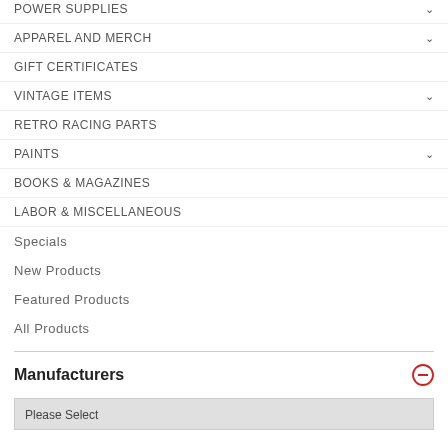POWER SUPPLIES
APPAREL AND MERCH
GIFT CERTIFICATES
VINTAGE ITEMS
RETRO RACING PARTS
PAINTS
BOOKS & MAGAZINES
LABOR & MISCELLANEOUS
Specials
New Products
Featured Products
All Products
Manufacturers
Please Select